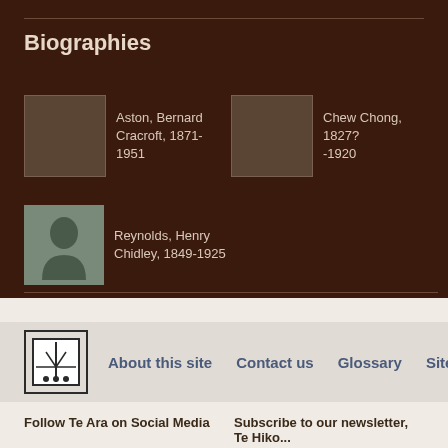Biographies
Aston, Bernard Cracroft, 1871-1951
Chew Chong, 1827?-1920
Reynolds, Henry Chidley, 1849-1925
More stories about...
Animal Farming
About this site
Contact us
Glossary
Sitem
Follow Te Ara on Social Media
Subscribe to our newsletter, Te Hiko...